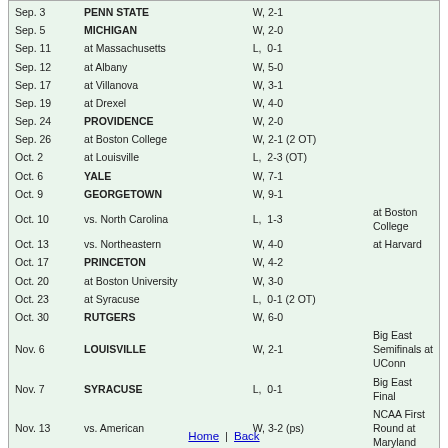| Date | Opponent | Result | Notes |
| --- | --- | --- | --- |
| Sep. 3 | PENN STATE | W, 2-1 |  |
| Sep. 5 | MICHIGAN | W, 2-0 |  |
| Sep. 11 | at Massachusetts | L,  0-1 |  |
| Sep. 12 | at Albany | W, 5-0 |  |
| Sep. 17 | at Villanova | W, 3-1 |  |
| Sep. 19 | at Drexel | W, 4-0 |  |
| Sep. 24 | PROVIDENCE | W, 2-0 |  |
| Sep. 26 | at Boston College | W, 2-1 (2 OT) |  |
| Oct. 2 | at Louisville | L,  2-3 (OT) |  |
| Oct. 6 | YALE | W, 7-1 |  |
| Oct. 9 | GEORGETOWN | W, 9-1 |  |
| Oct. 10 | vs. North Carolina | L,  1-3 | at Boston College |
| Oct. 13 | vs. Northeastern | W, 4-0 | at Harvard |
| Oct. 17 | PRINCETON | W, 4-2 |  |
| Oct. 20 | at Boston University | W, 3-0 |  |
| Oct. 23 | at Syracuse | L,  0-1 (2 OT) |  |
| Oct. 30 | RUTGERS | W, 6-0 |  |
| Nov. 6 | LOUISVILLE | W, 2-1 | Big East Semifinals at UConn |
| Nov. 7 | SYRACUSE | L,  0-1 | Big East Final |
| Nov. 13 | vs. American | W, 3-2 (ps) | NCAA First Round at Maryland |
| Nov. 14 | at Maryland | L,  1-3 | NCAA Quarterfinals |
Home | Back